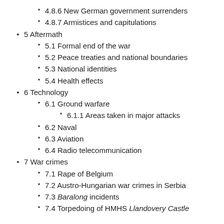4.8.6 New German government surrenders
4.8.7 Armistices and capitulations
5 Aftermath
5.1 Formal end of the war
5.2 Peace treaties and national boundaries
5.3 National identities
5.4 Health effects
6 Technology
6.1 Ground warfare
6.1.1 Areas taken in major attacks
6.2 Naval
6.3 Aviation
6.4 Radio telecommunication
7 War crimes
7.1 Rape of Belgium
7.2 Austro-Hungarian war crimes in Serbia
7.3 Baralong incidents
7.4 Torpedoing of HMHS Llandovery Castle